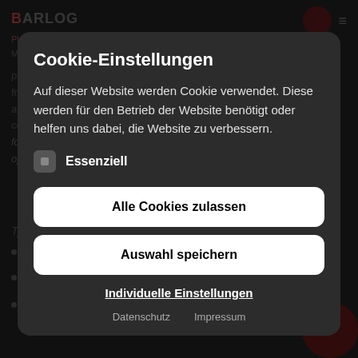[Figure (screenshot): Background website content of BARLOG Plastics showing dimmed text about polymer products, logo, navigation icon, and list items (Seals, Bellows, Haptic components)]
Cookie-Einstellungen
Auf dieser Website werden Cookie verwendet. Diese werden für den Betrieb der Website benötigt oder helfen uns dabei, die Website zu verbessern.
Essenziell
Alle Cookies zulassen
Auswahl speichern
Individuelle Einstellungen
Datenschutz   Impressum